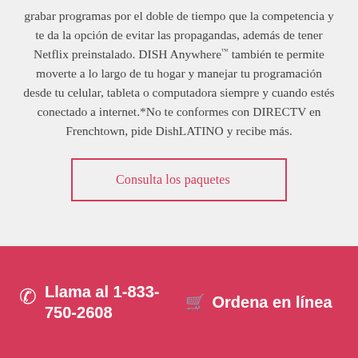grabar programas por el doble de tiempo que la competencia y te da la opción de evitar las propagandas, además de tener Netflix preinstalado. DISH Anywhere™ también te permite moverte a lo largo de tu hogar y manejar tu programación desde tu celular, tableta o computadora siempre y cuando estés conectado a internet.*No te conformes con DIRECTV en Frenchtown, pide DishLATINO y recibe más.
Consulta los paquetes
Llama al 1-833-750-2608   Ordena en línea